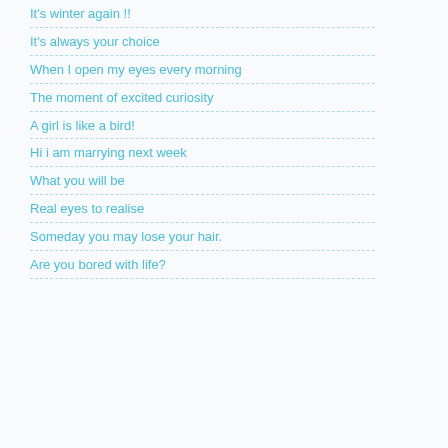It's winter again !!
It's always your choice
When I open my eyes every morning
The moment of excited curiosity
A girl is like a bird!
Hi i am marrying next week
What you will be
Real eyes to realise
Someday you may lose your hair.
Are you bored with life?